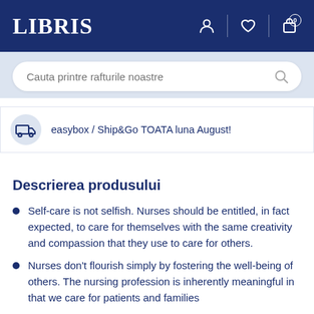LIBRIS
Cauta printre rafturile noastre
easybox / Ship&Go TOATA luna August!
Descrierea produsului
Self-care is not selfish. Nurses should be entitled, in fact expected, to care for themselves with the same creativity and compassion that they use to care for others.
Nurses don't flourish simply by fostering the well-being of others. The nursing profession is inherently meaningful in that we care for patients and families